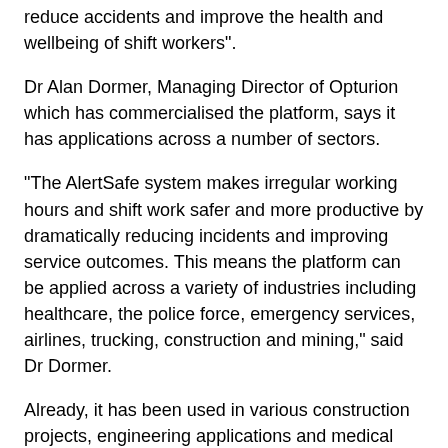reduce accidents and improve the health and wellbeing of shift workers".
Dr Alan Dormer, Managing Director of Opturion which has commercialised the platform, says it has applications across a number of sectors.
“The AlertSafe system makes irregular working hours and shift work safer and more productive by dramatically reducing incidents and improving service outcomes. This means the platform can be applied across a variety of industries including healthcare, the police force, emergency services, airlines, trucking, construction and mining,” said Dr Dormer.
Already, it has been used in various construction projects, engineering applications and medical transport.
AlertSafe was developed alongside a personalised sleep